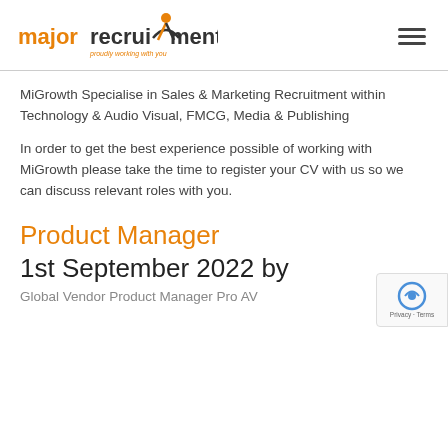[Figure (logo): Major Recruitment logo with orange and dark text and a stylized figure, with a hamburger menu icon on the right]
MiGrowth Specialise in Sales & Marketing Recruitment within Technology & Audio Visual, FMCG, Media & Publishing
In order to get the best experience possible of working with MiGrowth please take the time to register your CV with us so we can discuss relevant roles with you.
Product Manager
1st September 2022 by
Global Vendor Product Manager Pro AV